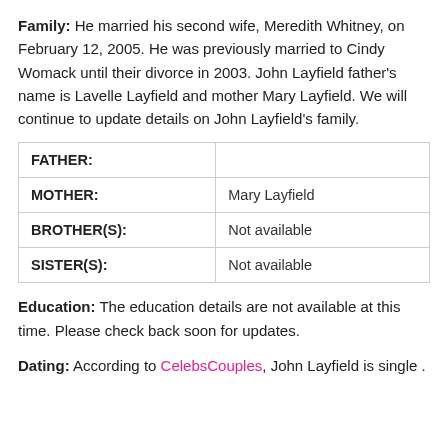Family: He married his second wife, Meredith Whitney, on February 12, 2005. He was previously married to Cindy Womack until their divorce in 2003. John Layfield father's name is Lavelle Layfield and mother Mary Layfield. We will continue to update details on John Layfield's family.
|  |  |
| --- | --- |
| FATHER: |  |
| MOTHER: | Mary Layfield |
| BROTHER(S): | Not available |
| SISTER(S): | Not available |
Education: The education details are not available at this time. Please check back soon for updates.
Dating: According to CelebsCouples, John Layfield is single .